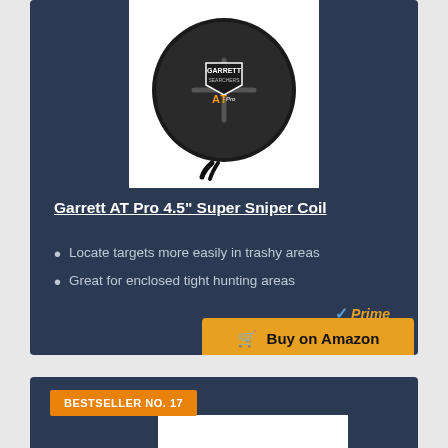[Figure (photo): Garrett AT Pro 4.5 inch Super Sniper Coil product image showing a black circular metal detector coil]
Garrett AT Pro 4.5" Super Sniper Coil
Locate targets more easily in trashy areas
Great for enclosed tight hunting areas
Buy on Amazon
BESTSELLER NO. 17
[Figure (photo): Partially visible product image at the bottom of the page]